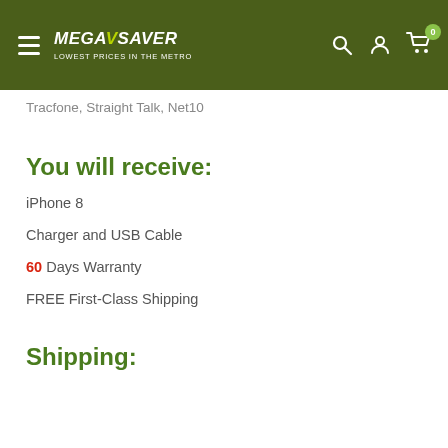MegaSaver — Lowest Prices in the Metro
Tracfone, Straight Talk, Net10
You will receive:
iPhone 8
Charger and USB Cable
60 Days Warranty
FREE First-Class Shipping
Shipping: